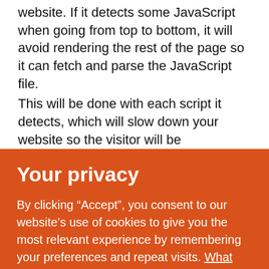website. If it detects some JavaScript when going from top to bottom, it will avoid rendering the rest of the page so it can fetch and parse the JavaScript file.

This will be done with each script it detects, which will slow down your website so the visitor will be
Your privacy
By clicking “Accept”, you consent to our website’s use of cookies to give you the most relevant experience by remembering your preferences and repeat visits. What for?
Accept